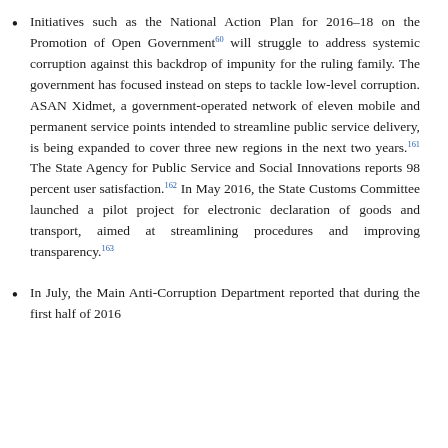Initiatives such as the National Action Plan for 2016–18 on the Promotion of Open Government[60] will struggle to address systemic corruption against this backdrop of impunity for the ruling family. The government has focused instead on steps to tackle low-level corruption. ASAN Xidmet, a government-operated network of eleven mobile and permanent service points intended to streamline public service delivery, is being expanded to cover three new regions in the next two years.[161] The State Agency for Public Service and Social Innovations reports 98 percent user satisfaction.[162] In May 2016, the State Customs Committee launched a pilot project for electronic declaration of goods and transport, aimed at streamlining procedures and improving transparency.[163]
In July, the Main Anti-Corruption Department reported that during the first half of 2016